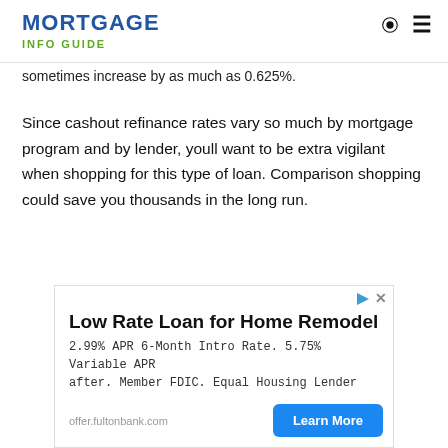MORTGAGE INFO GUIDE
sometimes increase by as much as 0.625%.
Since cashout refinance rates vary so much by mortgage program and by lender, youll want to be extra vigilant when shopping for this type of loan. Comparison shopping could save you thousands in the long run.
[Figure (other): Advertisement banner: Low Rate Loan for Home Remodel. 2.99% APR 6-Month Intro Rate. 5.75% Variable APR after. Member FDIC. Equal Housing Lender. offer.fultonbank.com. Learn More button.]